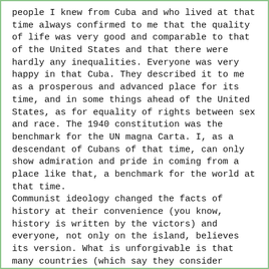people I knew from Cuba and who lived at that time always confirmed to me that the quality of life was very good and comparable to that of the United States and that there were hardly any inequalities. Everyone was very happy in that Cuba. They described it to me as a prosperous and advanced place for its time, and in some things ahead of the United States, as for equality of rights between sex and race. The 1940 constitution was the benchmark for the UN magna Carta. I, as a descendant of Cubans of that time, can only show admiration and pride in coming from a place like that, a benchmark for the world at that time.
Communist ideology changed the facts of history at their convenience (you know, history is written by the victors) and everyone, not only on the island, believes its version. What is unforgivable is that many countries (which say they consider themselves “democratic”) are also willing to do business and turn a blind eye to everything that happens there. They are giving oxygen to this brutal dictatorship, and they are exploiting Cuban workers and promoting prostitution.
Without further elaboration, I leave you video links of what Cuba was like in the 50s since an image is worth more than a